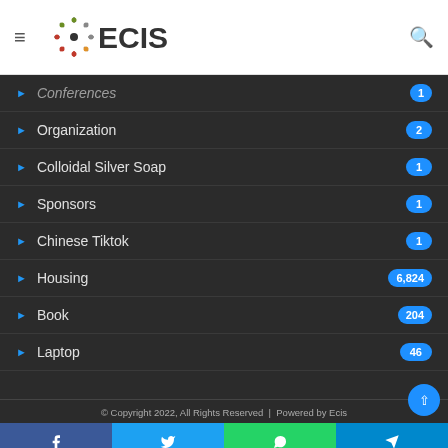ECIS - navigation header with logo and search
Conferences — badge cut off at top
Organization 2
Colloidal Silver Soap 1
Sponsors 1
Chinese Tiktok 1
Housing 6,824
Book 204
Laptop 46
© Copyright 2022, All Rights Reserved | Powered by Ecis